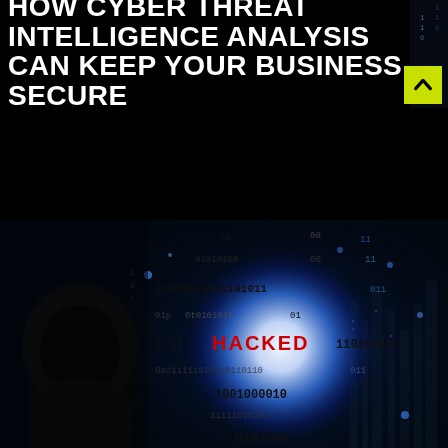[Figure (photo): Top strip: cybersecurity themed image showing binary code (0s and 1s) on dark background with hooded hacker figure, blue digital globe, and 'HACKED' text in red]
[Figure (photo): Main large cybersecurity image: hooded hacker figure viewed from behind, facing a glowing blue digital globe/sphere surrounded by binary code streams. 'HACKED' text appears in bold red in the center of the image.]
HOW CYBER THREAT INTELLIGENCE ANALYSIS CAN KEEP YOUR BUSINESS SECURE